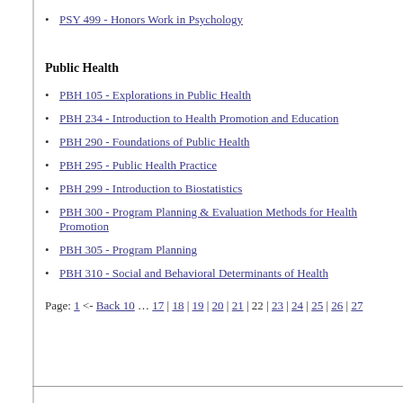PSY 499 - Honors Work in Psychology
Public Health
PBH 105 - Explorations in Public Health
PBH 234 - Introduction to Health Promotion and Education
PBH 290 - Foundations of Public Health
PBH 295 - Public Health Practice
PBH 299 - Introduction to Biostatistics
PBH 300 - Program Planning & Evaluation Methods for Health Promotion
PBH 305 - Program Planning
PBH 310 - Social and Behavioral Determinants of Health
Page: 1 <- Back 10 … 17 | 18 | 19 | 20 | 21 | 22 | 23 | 24 | 25 | 26 | 27